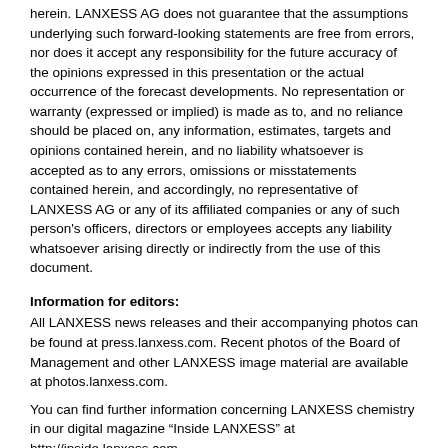herein. LANXESS AG does not guarantee that the assumptions underlying such forward-looking statements are free from errors, nor does it accept any responsibility for the future accuracy of the opinions expressed in this presentation or the actual occurrence of the forecast developments. No representation or warranty (expressed or implied) is made as to, and no reliance should be placed on, any information, estimates, targets and opinions contained herein, and no liability whatsoever is accepted as to any errors, omissions or misstatements contained herein, and accordingly, no representative of LANXESS AG or any of its affiliated companies or any of such person's officers, directors or employees accepts any liability whatsoever arising directly or indirectly from the use of this document.
Information for editors:
All LANXESS news releases and their accompanying photos can be found at press.lanxess.com. Recent photos of the Board of Management and other LANXESS image material are available at photos.lanxess.com.
You can find further information concerning LANXESS chemistry in our digital magazine “Inside LANXESS” at http://inside.lanxess.com.
Follow us on Twitter, Facebook, LinkedIn and YouTube: